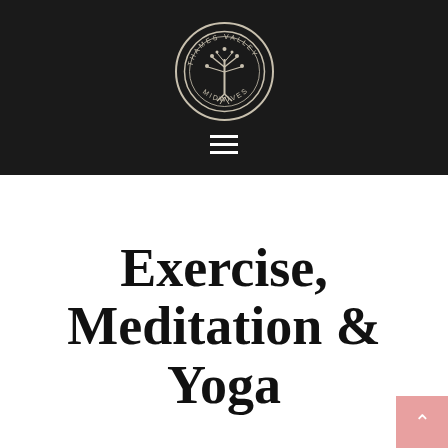[Figure (logo): Thames Valley Midwives circular logo with tree of life illustration and text reading THAMES VALLEY MIDWIVES around the border, on a dark background with hamburger menu icon below]
Exercise, Meditation & Yoga